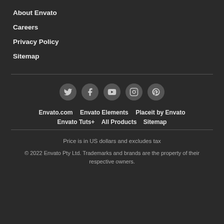About Envato
Careers
Privacy Policy
Sitemap
[Figure (infographic): Social media icons: Twitter, Facebook, YouTube, Instagram, Pinterest — each in a dark grey circle]
Envato.com   Envato Elements   Placeit by Envato   Envato Tuts+   All Products   Sitemap
Price is in US dollars and excludes tax
© 2022 Envato Pty Ltd. Trademarks and brands are the property of their respective owners.